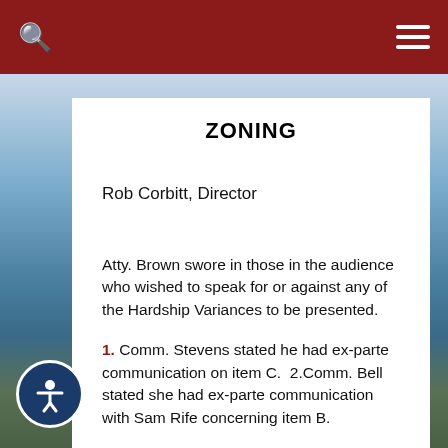ZONING (navigation bar with search and menu icons)
ZONING
Rob Corbitt, Director
Atty. Brown swore in those in the audience who wished to speak for or against any of the Hardship Variances to be presented.
1. Comm. Stevens stated he had ex-parte communication on item C.  2.Comm. Bell stated she had ex-parte communication with Sam Rife concerning item B.
A.      Petition No. 5-10 Ha.Va., Hardship Variance, Cynthia M. Baxter,